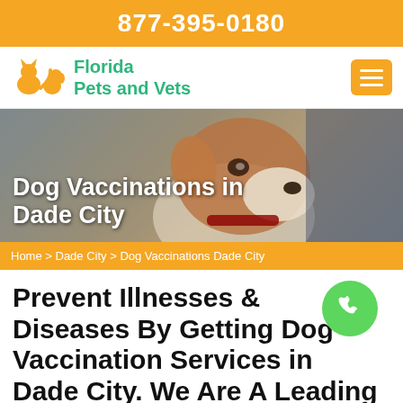877-395-0180
[Figure (logo): Florida Pets and Vets logo with orange pet silhouette icon and green text]
[Figure (photo): Hero banner photo of a brown and white dog (Jack Russell Terrier) looking sideways, with a blurred background]
Dog Vaccinations in Dade City
Home > Dade City > Dog Vaccinations Dade City
Prevent Illnesses Diseases By Getting Dog Vaccination Services in Dade City. We Are A Leading Clinic Providing Small Dog